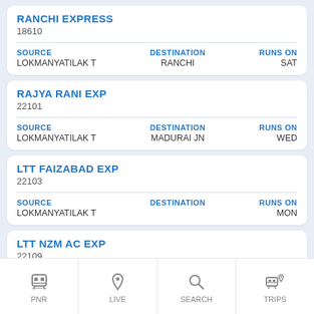RANCHI EXPRESS
18610
SOURCE: LOKMANYATILAK T | DESTINATION: RANCHI | RUNS ON: SAT
RAJYA RANI EXP
22101
SOURCE: LOKMANYATILAK T | DESTINATION: MADURAI JN | RUNS ON: WED
LTT FAIZABAD EXP
22103
SOURCE: LOKMANYATILAK T | DESTINATION: | RUNS ON: MON
LTT NZM AC EXP
22109
[Figure (screenshot): Bottom navigation bar with icons for PNR, LIVE, SEARCH, TRIPS]